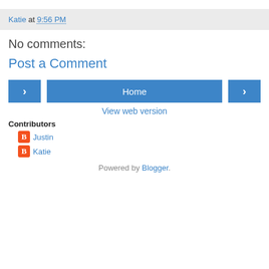Katie at 9:56 PM
No comments:
Post a Comment
[Figure (other): Navigation buttons: left arrow, Home, right arrow]
View web version
Contributors
Justin
Katie
Powered by Blogger.